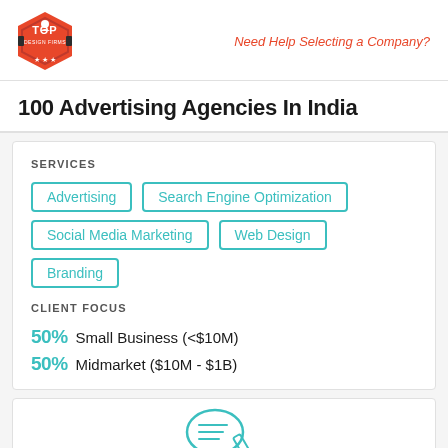Need Help Selecting a Company?
100 Advertising Agencies In India
SERVICES
Advertising
Search Engine Optimization
Social Media Marketing
Web Design
Branding
CLIENT FOCUS
50% Small Business (<$10M)
50% Midmarket ($10M - $1B)
[Figure (illustration): Icon of a person with a chat/review graphic]